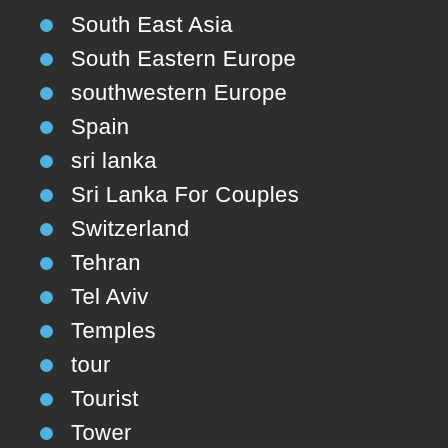South East Asia
South Eastern Europe
southwestern Europe
Spain
sri lanka
Sri Lanka For Couples
Switzerland
Tehran
Tel Aviv
Temples
tour
Tourist
Tower
travel
Travel group